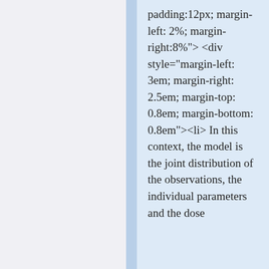padding:12px; margin-left: 2%; margin-right:8%"> <div style="margin-left: 3em; margin-right: 2.5em; margin-top: 0.8em; margin-bottom: 0.8em"><li> In this context, the model is the joint distribution of the observations, the individual parameters and the dose